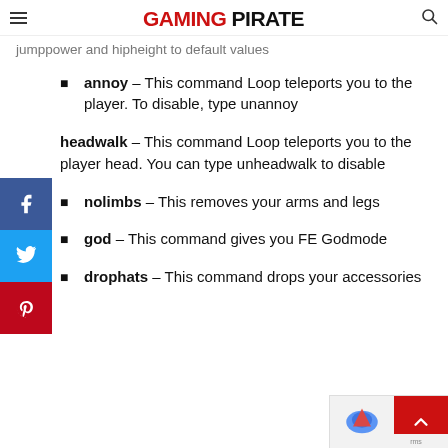GAMING PIRATE
jumppower and hipheight to default values
annoy – This command Loop teleports you to the player. To disable, type unannoy
headwalk – This command Loop teleports you to the player head. You can type unheadwalk to disable
nolimbs – This removes your arms and legs
god – This command gives you FE Godmode
drophats – This command drops your accessories